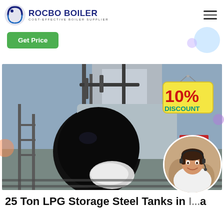ROCBO BOILER - COST-EFFECTIVE BOILER SUPPLIER
[Figure (logo): Rocbo Boiler logo with blue circular icon and company name]
Get Price
[Figure (photo): Industrial boiler/LPG storage steel tank installation photo with a 10% discount badge overlay and a customer service representative circle image]
25 Ton LPG Storage Steel Tanks in ...a